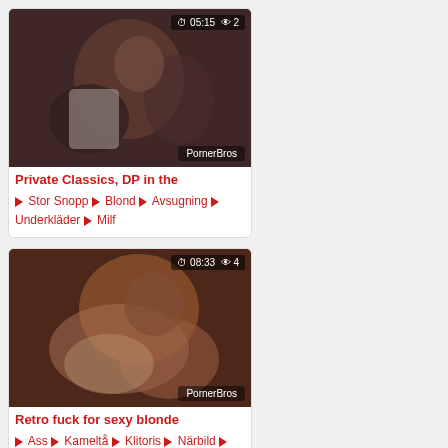[Figure (photo): Video thumbnail showing people outdoors, with timestamp 05:15 and view count 2, watermark PornerBros]
Private Classics, DP in the
Stor Snopp  Blond  Avsugning  Underkläder  Milf
[Figure (photo): Video thumbnail showing a couple in intimate scene, timestamp 08:33 and view count 4, watermark PornerBros]
Retro fuck for sexy blonde
Ass  Kameltå  Klitoris  Närbild  Hd  Orgasm